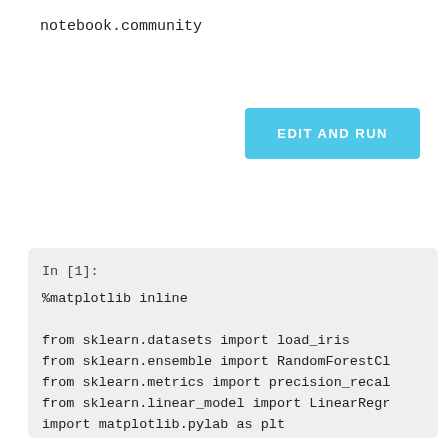notebook.community
EDIT AND RUN
In [1]:

%matplotlib inline

from sklearn.datasets import load_iris
from sklearn.ensemble import RandomForestCl
from sklearn.metrics import precision_recal
from sklearn.linear_model import LinearRegr
import matplotlib.pylab as plt
import pandas as pd
import numpy as np
from pandas.tools.plotting import scatter_m